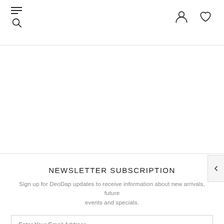Navigation header with hamburger/search icon, user icon, and heart/wishlist icon
NEWSLETTER SUBSCRIPTION
Sign up for DeoDap updates to receive information about new arrivals, future events and specials.
Enter Your Email Address